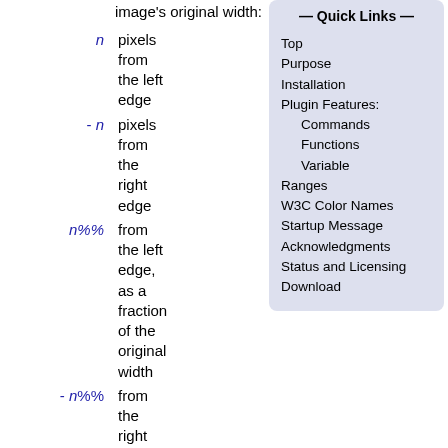image's original width:
n — pixels from the left edge
-n — pixels from the right edge
n%% — from the left edge, as a fraction of the original width
-n%% — from the right edge, as a fraction
— Quick Links —
Top
Purpose
Installation
Plugin Features:
    Commands
    Functions
    Variable
Ranges
W3C Color Names
Startup Message
Acknowledgments
Status and Licensing
Download